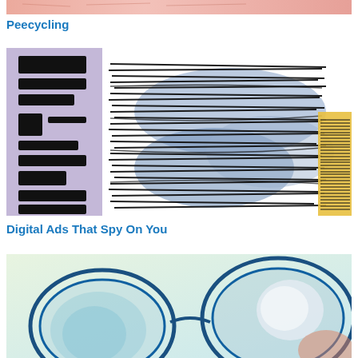[Figure (illustration): Partial view of an illustration at top, pink/salmon tones]
Peecycling
[Figure (illustration): Abstract artwork featuring black scribbled horizontal lines over blue-gray watercolor shapes on white background, with a purple/lavender panel on the left side showing vertical black brush strokes, and a yellow swatch with black barcode lines on the right edge]
Digital Ads That Spy On You
[Figure (illustration): Partial view of an illustration showing cartoon-like blue outlined circular shapes resembling eyes or glasses on a light blue/cream background]